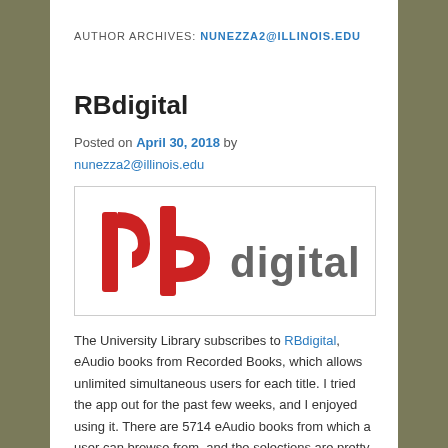AUTHOR ARCHIVES: nunezza2@illinois.edu
RBdigital
Posted on April 30, 2018 by nunezza2@illinois.edu
[Figure (logo): RBdigital logo — red 'rb' lettermark on the left, grey 'digital' text on the right, on a white background with a light grey border]
The University Library subscribes to RBdigital, eAudio books from Recorded Books, which allows unlimited simultaneous users for each title. I tried the app out for the past few weeks, and I enjoyed using it. There are 5714 eAudio books from which a user can browse from, and the selections are pretty